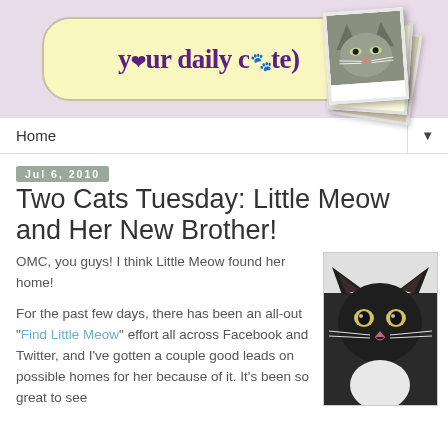[Figure (logo): Your Daily Cute blog header banner with yellow rounded rectangle logo, purple text reading 'your daily cute' with paw print icons, and polaroid-style cat photos in top right corner on lavender background]
Home ▼
Jul 6, 2010
Two Cats Tuesday: Little Meow and Her New Brother!
OMC, you guys! I think Little Meow found her home!
For the past few days, there has been an all-out "Find Little Meow" effort all across Facebook and Twitter, and I've gotten a couple good leads on possible homes for her because of it. It's been so great to see
[Figure (photo): Black kitten with white whiskers looking directly at camera, close-up portrait photo]